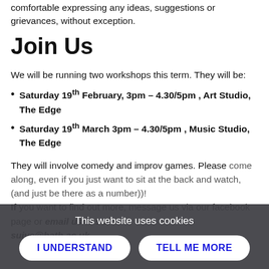comfortable expressing any ideas, suggestions or grievances, without exception.
Join Us
We will be running two workshops this term. They will be:
Saturday 19th February, 3pm – 4.30/5pm , Art Studio, The Edge
Saturday 19th March 3pm – 4.30/5pm , Music Studio, The Edge
They will involve comedy and improv games. Please come along, even if you just want to sit at the back and watch, (and just be there as a number).
If you want to find out more, message us via our facebook page or email us at su-suive@bath.ac.uk
This website uses cookies
I UNDERSTAND
TELL ME MORE